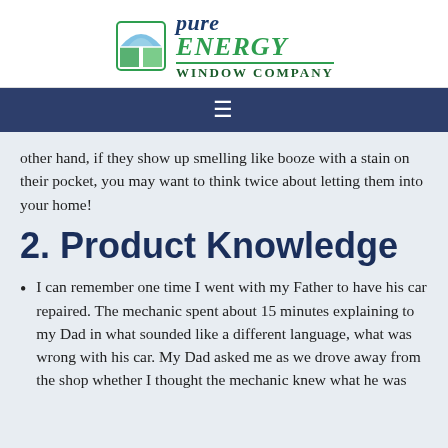[Figure (logo): Pure Energy Window Company logo with stylized window icon in blue and green, company name in blue and green text]
≡ (hamburger menu navigation bar)
other hand, if they show up smelling like booze with a stain on their pocket, you may want to think twice about letting them into your home!
2. Product Knowledge
I can remember one time I went with my Father to have his car repaired. The mechanic spent about 15 minutes explaining to my Dad in what sounded like a different language, what was wrong with his car. My Dad asked me as we drove away from the shop whether I thought the mechanic knew what he was